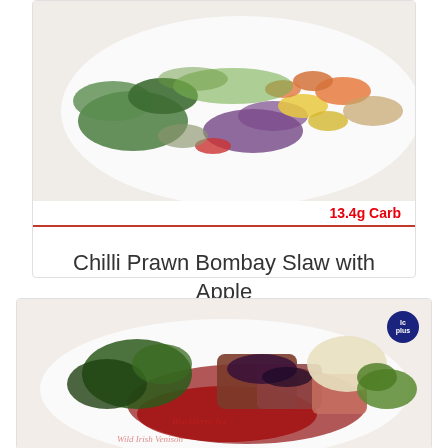[Figure (photo): Chilli prawn Bombay slaw with apple dish — colorful salad with prawns, mango, purple cabbage, and green leaves on a white plate]
13.4g Carb
Chilli Prawn Bombay Slaw with Apple
Dinner Low Carb High Fat / Lunch Low Carb High Fat
[Figure (photo): Venison dish with blackberry jus, served with sauteed greens, mashed potato, and edamame beans on a white plate]